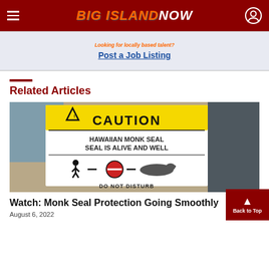Big Island Now
Looking for local talent? Post a Job Listing
Related Articles
[Figure (photo): A caution sign reading: CAUTION — HAWAIIAN MONK SEAL — SEAL IS ALIVE AND WELL — DO NOT DISTURB, with pictogram of person, no-entry symbol, and seal silhouette]
Watch: Monk Seal Protection Going Smoothly
August 6, 2022